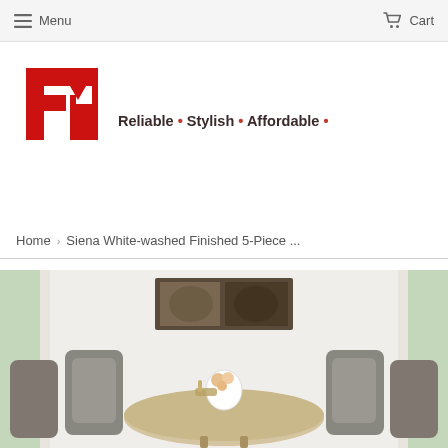Menu   Cart
[Figure (logo): FM logo — red block letter F and M combined into a geometric red square logo]
Reliable • Stylish • Affordable •
Home › Siena White-washed Finished 5-Piece ...
[Figure (photo): Product photo of a round white-washed dining table with four tufted grey upholstered chairs, a flower centerpiece and wine holder on the table, in a bright white room with windows showing greenery outside, abstract artwork on the wall above]